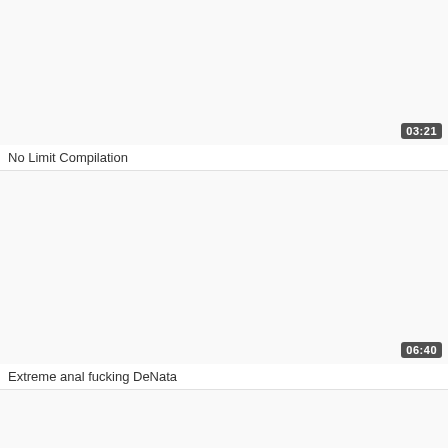[Figure (screenshot): Video thumbnail placeholder (white/light gray area) with duration badge '03:21' in bottom-right corner]
No Limit Compilation
[Figure (screenshot): Video thumbnail placeholder (white/light gray area) with duration badge '06:40' in bottom-right corner]
Extreme anal fucking DeNata
[Figure (screenshot): Video thumbnail placeholder (white/light gray area), partial, no badge visible]